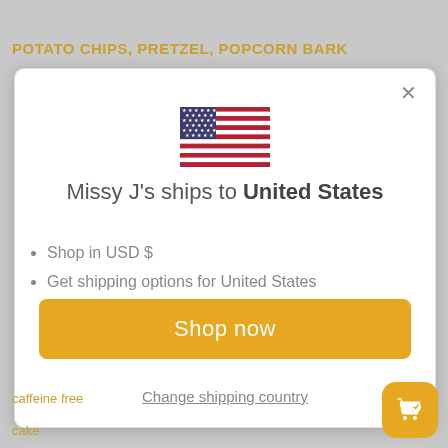POTATO CHIPS, PRETZEL, POPCORN BARK
[Figure (screenshot): Modal dialog showing US flag, shipping information for United States, bullet points about USD and shipping options, a Shop now button, and a Change shipping country link]
caffeine free
cake